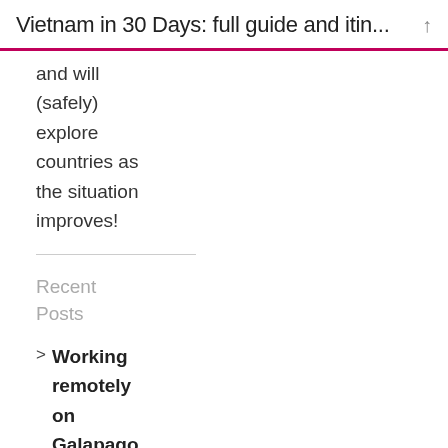Vietnam in 30 Days: full guide and itin...
and will (safely) explore countries as the situation improves!
Recent Posts
Working remotely on Galapagos: ultimate guide for